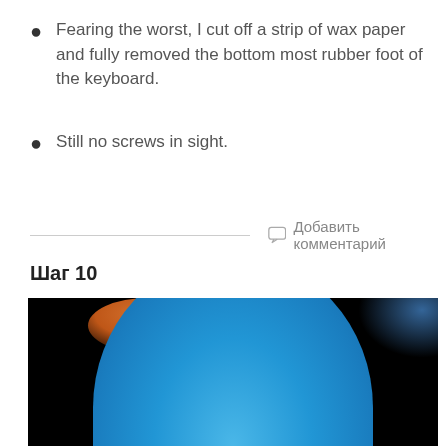Fearing the worst, I cut off a strip of wax paper and fully removed the bottom most rubber foot of the keyboard.
Still no screws in sight.
Добавить комментарий
Шаг 10
[Figure (photo): Close-up photo of a blue dome-shaped object against a dark background, with orange light visible at the top left and blue light at the top right.]